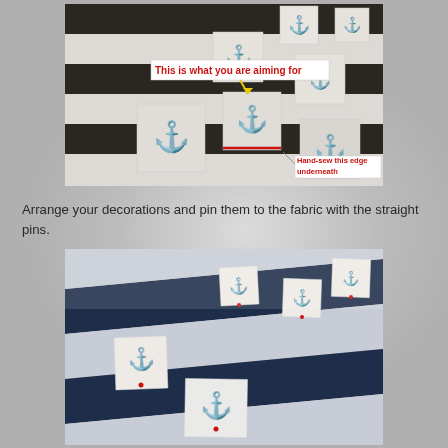[Figure (photo): Photo of white fabric squares with black anchor prints arranged on black and white striped fabric. Annotations show 'This is what you are aiming for' with yellow arrow pointing to a square, and 'Hand-sew this edge underneath' pointing to a red line on one square's edge.]
Arrange your decorations and pin them to the fabric with the straight pins.
[Figure (photo): Photo of navy/dark blue and white striped fabric with white fabric squares bearing navy anchor prints pinned onto the stripes with straight pins. Viewed at an angle.]